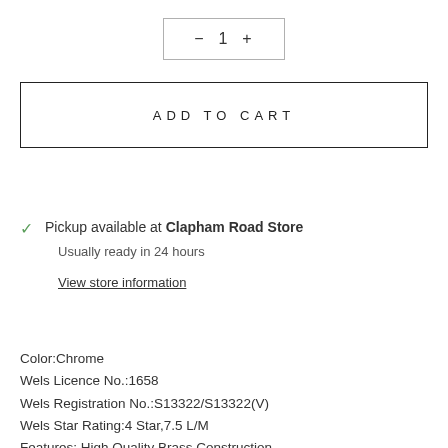- 1 +
ADD TO CART
Pickup available at Clapham Road Store
Usually ready in 24 hours
View store information
Color:Chrome
Wels Licence No.:1658
Wels Registration No.:S13322/S13322(V)
Wels Star Rating:4 Star,7.5 L/M
Features: High Quality Brass Construction